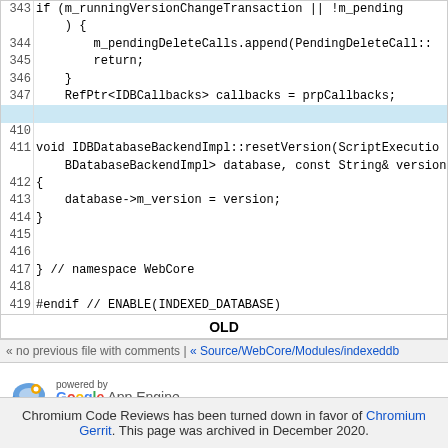[Figure (screenshot): Source code viewer showing C++ code lines 343-347 and 410-419 with line numbers, a highlighted row, and OLD label, followed by a navigation bar]
[Figure (logo): Powered by Google App Engine logo]
Chromium Code Reviews has been turned down in favor of Chromium Gerrit. This page was archived in December 2020.